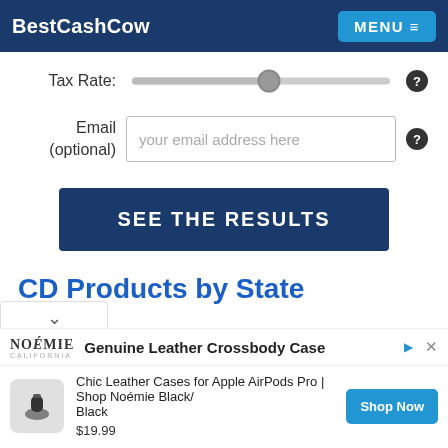BestCashCow
Tax Rate:
Email (optional)
your email address here
SEE THE RESULTS
CD Products by State
[Figure (screenshot): Advertisement banner: Noémie California - Genuine Leather Crossbody Case. Chic Leather Cases for Apple AirPods Pro | Shop Noémie Black/Black. $19.99. Shop Now button.]